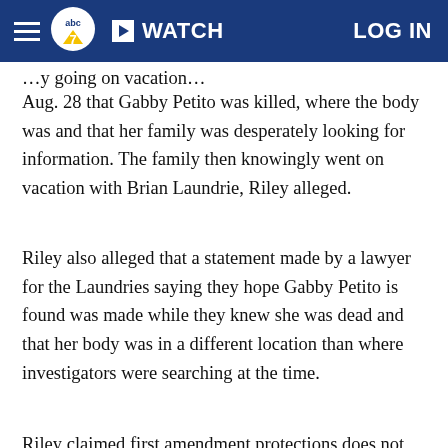abc7 | WATCH | LOG IN
Aug. 28 that Gabby Petito was killed, where the body was and that her family was desperately looking for information. The family then knowingly went on vacation with Brian Laundrie, Riley alleged.
Riley also alleged that a statement made by a lawyer for the Laundries saying they hope Gabby Petito is found was made while they knew she was dead and that her body was in a different location than where investigators were searching at the time.
Riley claimed first amendment protections does not apply in this case.
Judge Hester Cassell scheduled a hearing in...